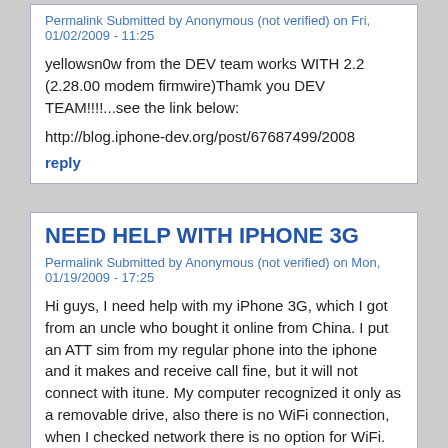Permalink Submitted by Anonymous (not verified) on Fri, 01/02/2009 - 11:25
yellowsn0w from the DEV team works WITH 2.2 (2.28.00 modem firmwire)Thamk you DEV TEAM!!!!...see the link below:
http://blog.iphone-dev.org/post/67687499/2008
reply
NEED HELP WITH IPHONE 3G
Permalink Submitted by Anonymous (not verified) on Mon, 01/19/2009 - 17:25
Hi guys, I need help with my iPhone 3G, which I got from an uncle who bought it online from China. I put an ATT sim from my regular phone into the iphone and it makes and receive call fine, but it will not connect with itune. My computer recognized it only as a removable drive, also there is no WiFi connection, when I checked network there is no option for WiFi. Another thing there are no itune or Safari icon on the phone screen. What should I do.
reply